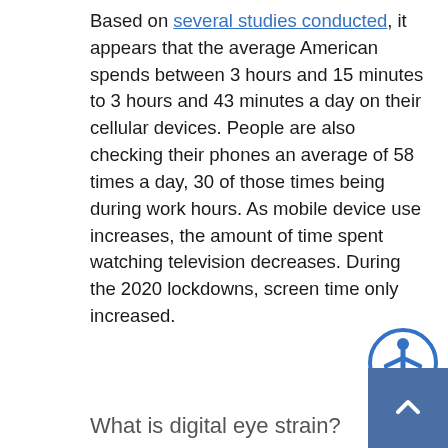Based on several studies conducted, it appears that the average American spends between 3 hours and 15 minutes to 3 hours and 43 minutes a day on their cellular devices. People are also checking their phones an average of 58 times a day, 30 of those times being during work hours. As mobile device use increases, the amount of time spent watching television decreases. During the 2020 lockdowns, screen time only increased.
[Figure (other): Accessibility icon - blue circle with white human figure symbol]
What is digital eye strain?
DIS, also known as computer vision syndrome, is a common vision problem that persists in individuals who are using their devices for 2 uninterrupted hours. It is disturbingly common, as it has been surveyed 58% of American adults suffer from DIS/CVS. While permanent vision damage from screen time is rare and it's probably not going to lead you requiring Orange County laser eye